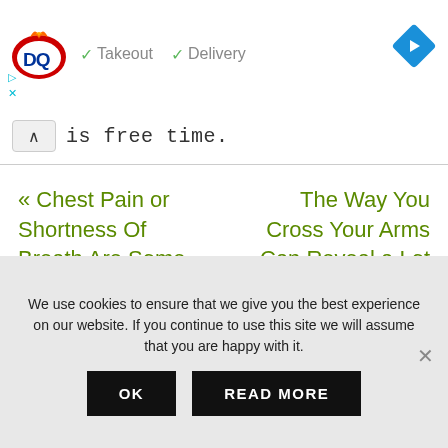[Figure (logo): Dairy Queen DQ logo with red flame, red oval, blue DQ letters]
✓ Takeout  ✓ Delivery
[Figure (illustration): Blue diamond navigation/directions icon with white right arrow]
[Figure (other): Small play and close (X) icons in cyan/teal color]
is free time.
« Chest Pain or Shortness Of Breath Are Some Of The Warning Signs You Have A
The Way You Cross Your Arms Can Reveal a Lot About Your Personality »
We use cookies to ensure that we give you the best experience on our website. If you continue to use this site we will assume that you are happy with it.
OK
READ MORE